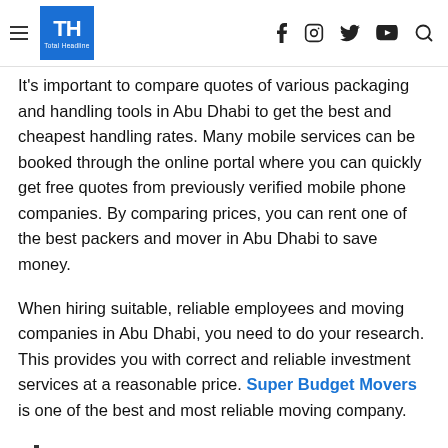TH Total Headline — social icons: f, instagram, twitter, youtube, search
It's important to compare quotes of various packaging and handling tools in Abu Dhabi to get the best and cheapest handling rates. Many mobile services can be booked through the online portal where you can quickly get free quotes from previously verified mobile phone companies. By comparing prices, you can rent one of the best packers and mover in Abu Dhabi to save money.
When hiring suitable, reliable employees and moving companies in Abu Dhabi, you need to do your research. This provides you with correct and reliable investment services at a reasonable price. Super Budget Movers is one of the best and most reliable moving company.
Post Views: 356